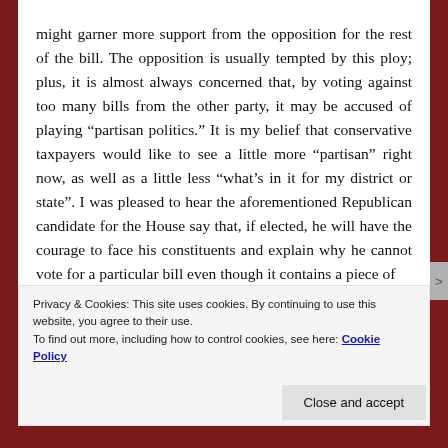might garner more support from the opposition for the rest of the bill. The opposition is usually tempted by this ploy; plus, it is almost always concerned that, by voting against too many bills from the other party, it may be accused of playing “partisan politics.” It is my belief that conservative taxpayers would like to see a little more “partisan” right now, as well as a little less “what’s in it for my district or state”. I was pleased to hear the aforementioned Republican candidate for the House say that, if elected, he will have the courage to face his constituents and explain why he cannot vote for a particular bill even though it contains a piece of
Privacy & Cookies: This site uses cookies. By continuing to use this website, you agree to their use.
To find out more, including how to control cookies, see here: Cookie Policy
Close and accept